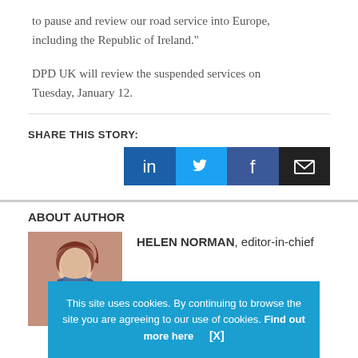to pause and review our road service into Europe, including the Republic of Ireland."
DPD UK will review the suspended services on Tuesday, January 12.
SHARE THIS STORY:
[Figure (other): Social share buttons: LinkedIn (blue), Twitter (light blue), Facebook (dark blue), Email (dark/black)]
ABOUT AUTHOR
[Figure (photo): Photo of Helen Norman, editor-in-chief, a woman with red/auburn hair smiling]
HELEN NORMAN, editor-in-chief
This site uses cookies. By continuing to browse the site you are agreeing to our use of cookies. Find out more here  [X]